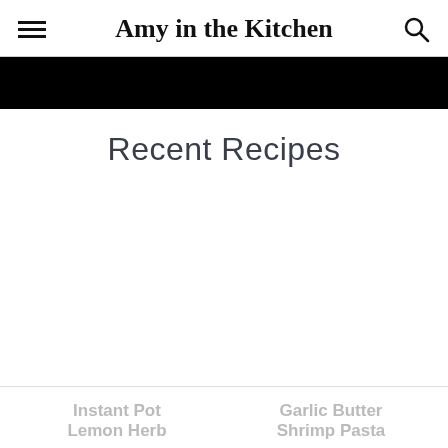Amy in the Kitchen
[Figure (photo): Black banner/hero image strip across the top of the page content area]
Recent Recipes
Instant Pot
Garlic Butter
Lemon Herb
Shrimp Pasta